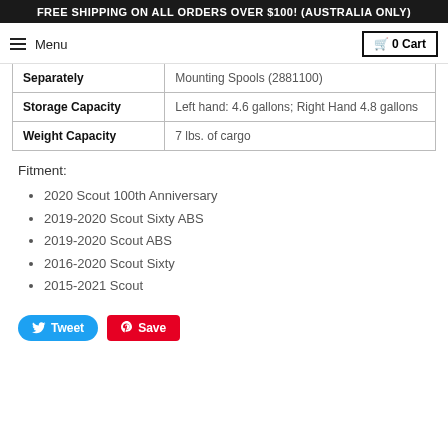FREE SHIPPING ON ALL ORDERS OVER $100! (AUSTRALIA ONLY)
| Separately | Mounting Spools (2881100) |
| Storage Capacity | Left hand: 4.6 gallons; Right Hand 4.8 gallons |
| Weight Capacity | 7 lbs. of cargo |
Fitment:
2020 Scout 100th Anniversary
2019-2020 Scout Sixty ABS
2019-2020 Scout ABS
2016-2020 Scout Sixty
2015-2021 Scout